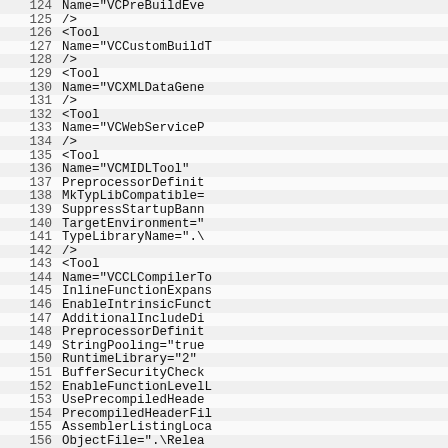[Figure (screenshot): Source code viewer showing XML/project file lines 124-156 with line numbers, alternating row background colors, and monospace code content. Lines show Tool elements and attributes for a Visual C++ project configuration file including VCPreBuildEvent, VCCustomBuildTool, VCXMLDataGeneratorTool, VCWebServiceProxyGeneratorTool, VCMIDLTool with PreprocessorDefinitions, MkTypLibCompatible, SuppressStartupBanner, TargetEnvironment, TypeLibraryName, and VCCLCompilerTool with InlineFunctionExpansion, EnableIntrinsicFunctions, AdditionalIncludeDirectories, PreprocessorDefinitions, StringPooling, RuntimeLibrary, BufferSecurityCheck, EnableFunctionLevelLinking, UsePrecompiledHeader, PrecompiledHeaderFile, AssemblerListingLocation, ObjectFile attributes.]